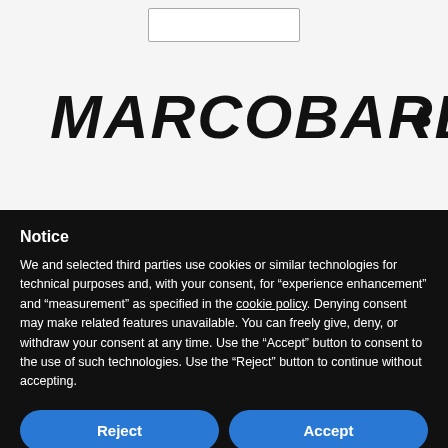[Figure (logo): MARCOBARBA logo in bold handwritten/italic uppercase text with a small flame/drop icon to the right]
Notice
We and selected third parties use cookies or similar technologies for technical purposes and, with your consent, for “experience enhancement” and “measurement” as specified in the cookie policy. Denying consent may make related features unavailable. You can freely give, deny, or withdraw your consent at any time. Use the “Accept” button to consent to the use of such technologies. Use the “Reject” button to continue without accepting.
Reject
Accept
Learn more and customize